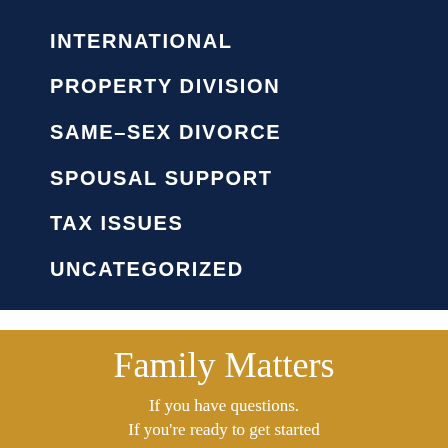INTERNATIONAL
PROPERTY DIVISION
SAME-SEX DIVORCE
SPOUSAL SUPPORT
TAX ISSUES
UNCATEGORIZED
Family Matters
If you have questions. If you're ready to get started